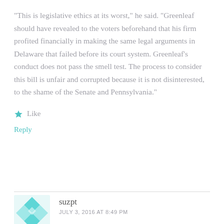“This is legislative ethics at its worst,” he said. “Greenleaf should have revealed to the voters beforehand that his firm profited financially in making the same legal arguments in Delaware that failed before its court system. Greenleaf’s conduct does not pass the smell test. The process to consider this bill is unfair and corrupted because it is not disinterested, to the shame of the Senate and Pennsylvania.”
Like
Reply
suzpt
JULY 3, 2016 AT 8:49 PM